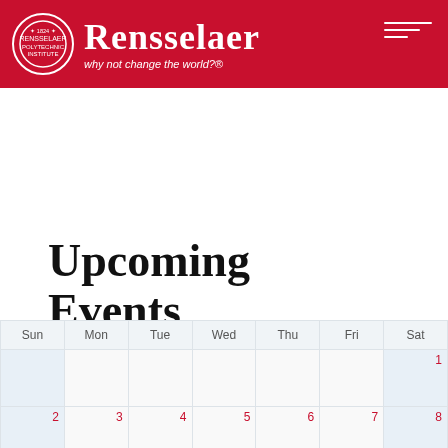Rensselaer — why not change the world?®
Upcoming Events Calendar
[Figure (screenshot): Calendar navigation bar with buttons: « 2021, ‹ DEC, calendar icon, FEB ›, 2023 », and a grid view toggle button on the right]
| Sun | Mon | Tue | Wed | Thu | Fri | Sat |
| --- | --- | --- | --- | --- | --- | --- |
|  |  |  |  |  |  | 1 |
| 2 | 3 | 4 | 5 | 6 | 7 | 8 |